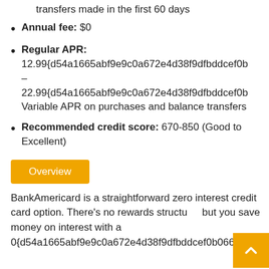transfers made in the first 60 days
Annual fee: $0
Regular APR: 12.99{d54a1665abf9e9c0a672e4d38f9dfbddcef0b – 22.99{d54a1665abf9e9c0a672e4d38f9dfbddcef0b Variable APR on purchases and balance transfers
Recommended credit score: 670-850 (Good to Excellent)
Overview
BankAmericard is a straightforward zero interest credit card option. There's no rewards structu... but you save money on interest with a 0{d54a1665abf9e9c0a672e4d38f9dfbddcef0b06672b